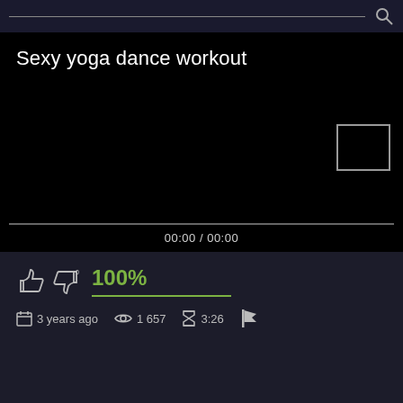[Figure (screenshot): Top navigation bar with search input field and search icon on dark background]
Sexy yoga dance workout
[Figure (screenshot): Black video player area with PiP (picture-in-picture) box outline in top right corner, progress bar at bottom, time display showing 00:00 / 00:00]
00:00 / 00:00
100%
3 years ago   1 657   3:26